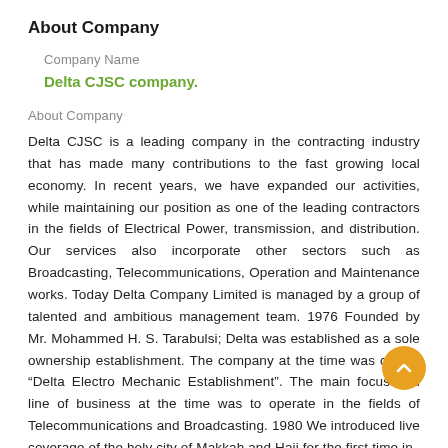About Company
Company Name
Delta CJSC company.
About Company
Delta CJSC is a leading company in the contracting industry that has made many contributions to the fast growing local economy. In recent years, we have expanded our activities, while maintaining our position as one of the leading contractors in the fields of Electrical Power, transmission, and distribution. Our services also incorporate other sectors such as Broadcasting, Telecommunications, Operation and Maintenance works. Today Delta Company Limited is managed by a group of talented and ambitious management team. 1976 Founded by Mr. Mohammed H. S. Tarabulsi; Delta was established as a sole ownership establishment. The company at the time was called, “Delta Electro Mechanic Establishment”. The main focus and line of business at the time was to operate in the fields of Telecommunications and Broadcasting. 1980 We introduced live coverage of the holy city of Makkah and Hajj for the first time in